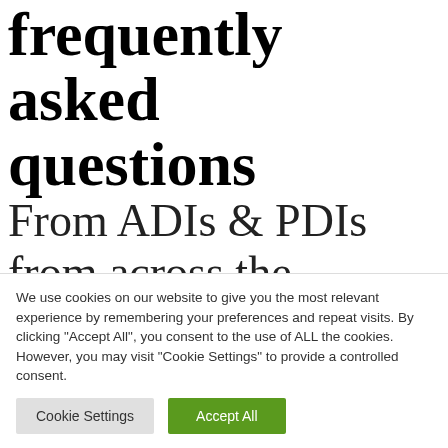frequently asked questions
From ADIs & PDIs from across the industry on a range of issues and topics
We use cookies on our website to give you the most relevant experience by remembering your preferences and repeat visits. By clicking "Accept All", you consent to the use of ALL the cookies. However, you may visit "Cookie Settings" to provide a controlled consent.